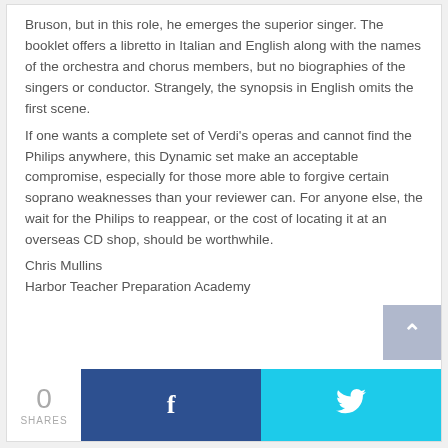Bruson, but in this role, he emerges the superior singer. The booklet offers a libretto in Italian and English along with the names of the orchestra and chorus members, but no biographies of the singers or conductor. Strangely, the synopsis in English omits the first scene.
If one wants a complete set of Verdi's operas and cannot find the Philips anywhere, this Dynamic set make an acceptable compromise, especially for those more able to forgive certain soprano weaknesses than your reviewer can. For anyone else, the wait for the Philips to reappear, or the cost of locating it at an overseas CD shop, should be worthwhile.
Chris Mullins
Harbor Teacher Preparation Academy
[Figure (infographic): Share bar with count 0 SHARES, Facebook share button (dark blue with f icon), and Twitter share button (cyan with bird icon)]